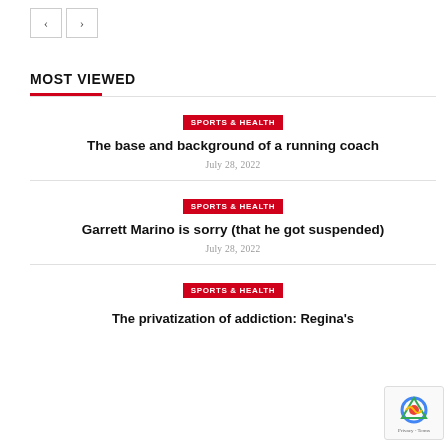Navigation buttons (prev/next)
MOST VIEWED
SPORTS & HEALTH | The base and background of a running coach | July 28, 2022
SPORTS & HEALTH | Garrett Marino is sorry (that he got suspended) | July 28, 2022
SPORTS & HEALTH | The privatization of addiction: Regina's...